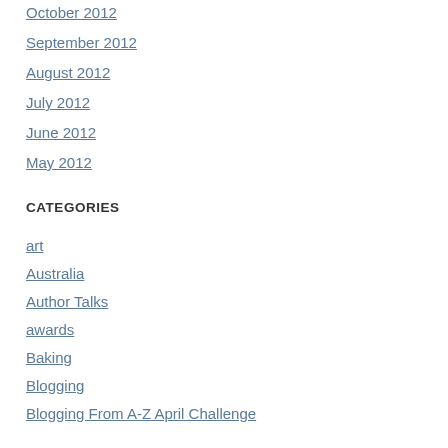October 2012
September 2012
August 2012
July 2012
June 2012
May 2012
CATEGORIES
art
Australia
Author Talks
awards
Baking
Blogging
Blogging From A-Z April Challenge
Books
Carrot Ranch Fiction